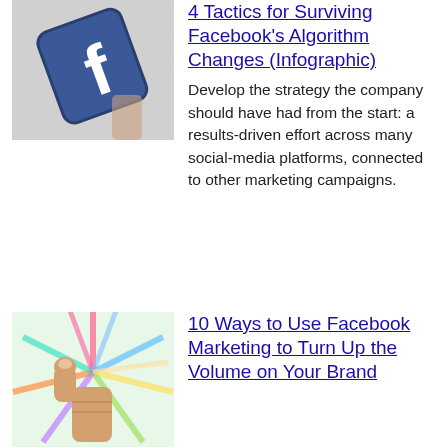[Figure (photo): Facebook logo icon (blue square with white 'f') tilted at an angle]
4 Tactics for Surviving Facebook's Algorithm Changes (Infographic)
Develop the strategy the company should have had from the start: a results-driven effort across many social-media platforms, connected to other marketing campaigns.
[Figure (photo): Hand giving thumbs-up in front of colorful radiating burst background]
10 Ways to Use Facebook Marketing to Turn Up the Volume on Your Brand